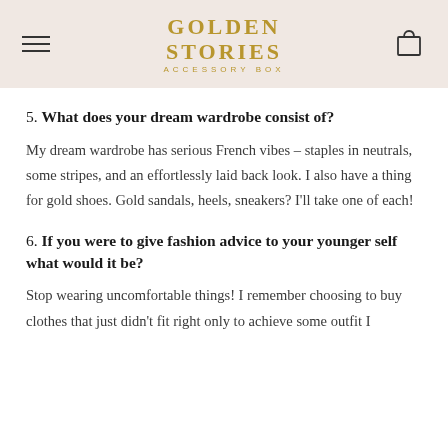GOLDEN STORIES ACCESSORY BOX
5. What does your dream wardrobe consist of?
My dream wardrobe has serious French vibes – staples in neutrals, some stripes, and an effortlessly laid back look. I also have a thing for gold shoes. Gold sandals, heels, sneakers? I'll take one of each!
6. If you were to give fashion advice to your younger self what would it be?
Stop wearing uncomfortable things! I remember choosing to buy clothes that just didn't fit right only to achieve some outfit I